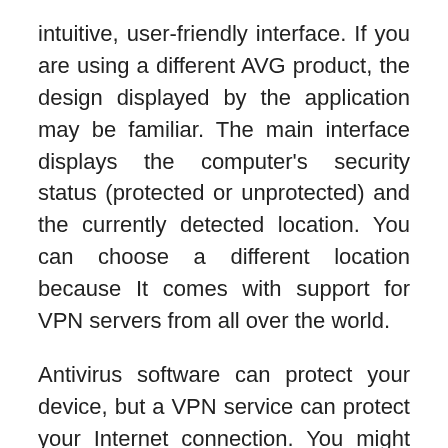intuitive, user-friendly interface. If you are using a different AVG product, the design displayed by the application may be familiar. The main interface displays the computer's security status (protected or unprotected) and the currently detected location. You can choose a different location because It comes with support for VPN servers from all over the world.
Antivirus software can protect your device, but a VPN service can protect your Internet connection. You might think that you don't need to download a VPN, but if you don't have a VPN, you will be open to cybercriminals, advertisers and even Internet service providers to spy on your browsing activity. That's why.
Free Download AVG Secure VPN